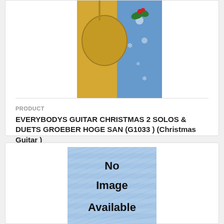[Figure (photo): Partial view of a guitar Christmas album cover with blue background and holiday decorations]
PRODUCT
EVERYBODYS GUITAR CHRISTMAS 2 SOLOS & DUETS GROEBER HOGE SAN (G1033 ) (Christmas Guitar )
$6.95
[Figure (photo): No Image Available placeholder image with blue textured background and bold black text]